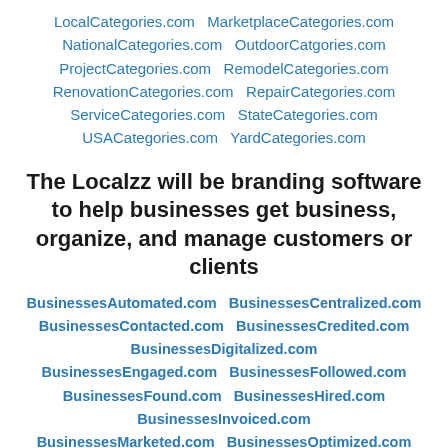LocalCategories.com  MarketplaceCategories.com
NationalCategories.com  OutdoorCatgories.com
ProjectCategories.com  RemodelCategories.com
RenovationCategories.com  RepairCategories.com
ServiceCategories.com  StateCategories.com
USACategories.com  YardCategories.com
The Localzz will be branding software to help businesses get business, organize, and manage customers or clients
BusinessesAutomated.com  BusinessesCentralized.com
BusinessesContacted.com  BusinessesCredited.com
BusinessesDigitalized.com
BusinessesEngaged.com  BusinessesFollowed.com
BusinessesFound.com  BusinessesHired.com
BusinessesInvoiced.com
BusinessesMarketed.com  BusinessesOptimized.com
BusinessesOrganized.com  BusinessesPaid.com
BusinessesPosted.com